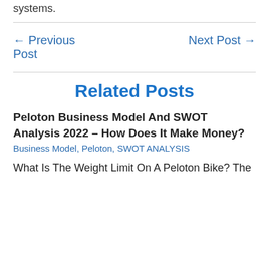systems.
← Previous Post
Next Post →
Related Posts
Peloton Business Model And SWOT Analysis 2022 – How Does It Make Money?
Business Model, Peloton, SWOT ANALYSIS
What Is The Weight Limit On A Peloton Bike? The